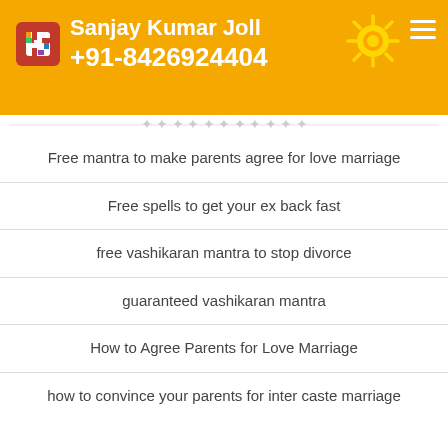Sanjay Kumar Joll +91-8426924404
Free mantra to make parents agree for love marriage
Free spells to get your ex back fast
free vashikaran mantra to stop divorce
guaranteed vashikaran mantra
How to Agree Parents for Love Marriage
how to convince your parents for inter caste marriage